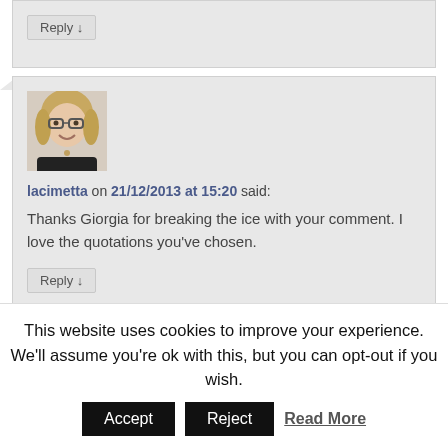Reply ↓
[Figure (photo): Avatar photo of a woman with blonde hair and glasses, smiling, wearing a black top]
lacimetta on 21/12/2013 at 15:20 said:
Thanks Giorgia for breaking the ice with your comment. I love the quotations you've chosen.
Reply ↓
This website uses cookies to improve your experience. We'll assume you're ok with this, but you can opt-out if you wish.
Accept
Reject
Read More